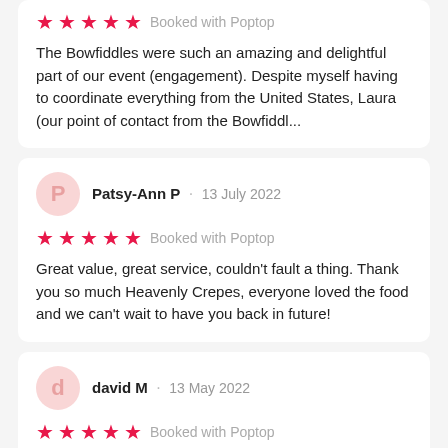The Bowfiddles were such an amazing and delightful part of our event (engagement). Despite myself having to coordinate everything from the United States, Laura (our point of contact from the Bowfiddl...
Patsy-Ann P · 13 July 2022
★★★★★ Booked with Poptop
Great value, great service, couldn't fault a thing. Thank you so much Heavenly Crepes, everyone loved the food and we can't wait to have you back in future!
david M · 13 May 2022
★★★★★ Booked with Poptop
40th Birthday Party: I can't recommend Glo enough!